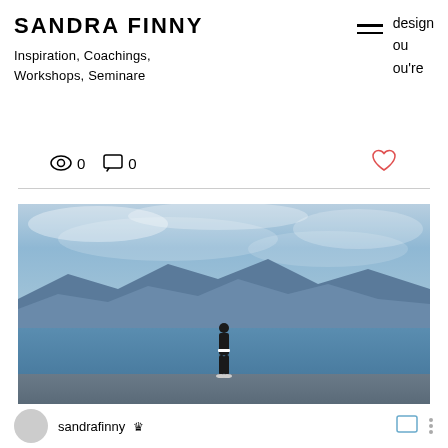SANDRA FINNY
Inspiration, Coachings, Workshops, Seminare
design
ou
ou're
0   0
[Figure (photo): Person standing with back to camera on a pier, looking out at a lake with mountains and cloudy blue sky in the background.]
sandrafinny